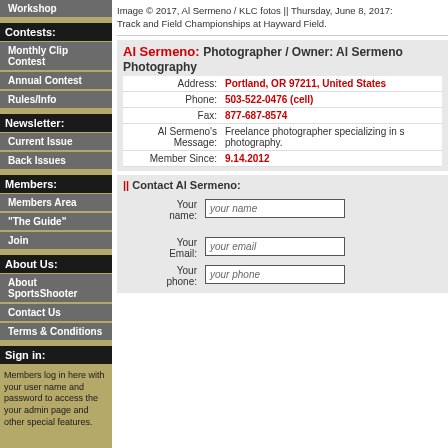Workshop
Contests:
Monthly Clip Contest
Annual Contest
Rules/Info
Newsletter:
Current Issue
Back Issues
Members:
Members Area
"The Guide"
Join
About Us:
About SportsShooter
Contact Us
Terms & Conditions
Sign in:
Members log in here with your user name and password to access the your admin page and other special features.
Image © 2017, Al Sermeno / KLC fotos || Thursday, June 8, 2017: Track and Field Championships at Hayward Field.
Al Sermeno: Photographer / Owner: Al Sermeno Photography
| Field | Value |
| --- | --- |
| Address: | Portland, OR 97211, United States |
| Phone: | 503-522-0476 (cell) |
| Fax: | 877-687-8574 |
| Al Sermeno's Message: | Freelance photographer specializing in sports photography. |
| Member Since: | 9.14.2012 |
|| Contact Al Sermeno:
Your name: [your name]
Your Email: [your email]
Your phone: [your phone]